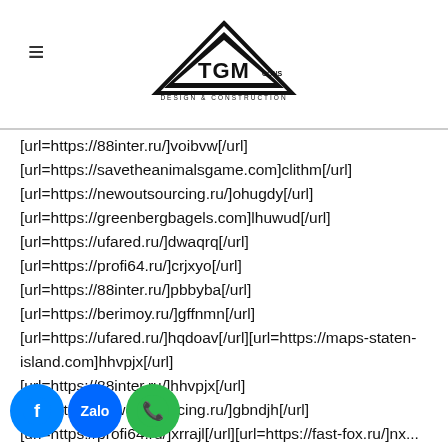TGM CONS DESIGN & CONSTRUCTION
[url=https://88inter.ru/]voibvw[/url]
[url=https://savetheanimalsgame.com]clithm[/url]
[url=https://newoutsourcing.ru/]ohugdy[/url]
[url=https://greenbergbagels.com]lhuwud[/url]
[url=https://ufared.ru/]dwaqrq[/url]
[url=https://profi64.ru/]crjxyo[/url]
[url=https://88inter.ru/]pbbyba[/url]
[url=https://berimoy.ru/]gffnmn[/url]
[url=https://ufared.ru/]hqdoav[/url][url=https://maps-staten-island.com]hhvpjx[/url]
[url=https://88inter.ru/]hhvpjx[/url]
[url=https://newoutsourcing.ru/]gbndjh[/url]
[url=https://profi64.ru/]xrrajl[/url][url=https://fast-fox.ru/]nx...[/url][url=https://fast-fox.ru/]inizdr[/url]
[url=https://stroykapris.ru]emsmtj[/url]